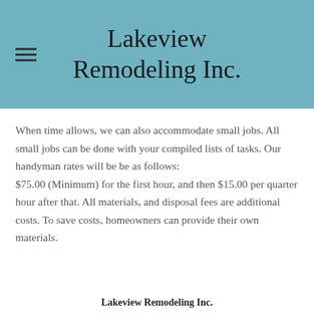Lakeview Remodeling Inc.
When time allows, we can also accommodate small jobs.  All small jobs can be done with your compiled lists of tasks.  Our handyman rates will be be as follows:
$75.00 (Minimum) for the first hour, and then $15.00 per quarter hour after that.  All materials, and disposal fees are additional costs.  To save costs, homeowners can provide their own materials.
Lakeview Remodeling Inc.